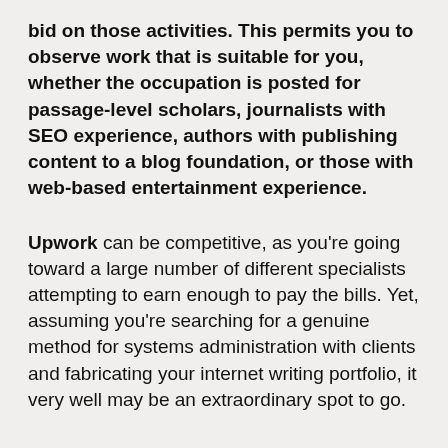bid on those activities. This permits you to observe work that is suitable for you, whether the occupation is posted for passage-level scholars, journalists with SEO experience, authors with publishing content to a blog foundation, or those with web-based entertainment experience.
Upwork can be competitive, as you're going toward a large number of different specialists attempting to earn enough to pay the bills. Yet, assuming you're searching for a genuine method for systems administration with clients and fabricating your internet writing portfolio, it very well may be an extraordinary spot to go.